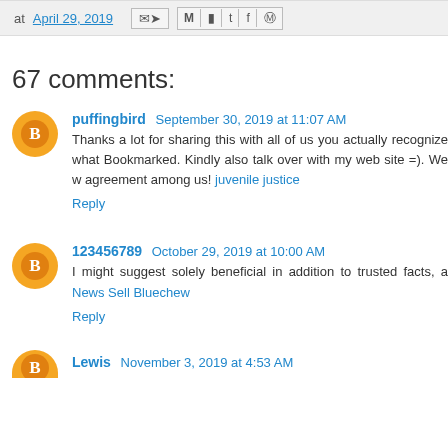at April 29, 2019
67 comments:
puffingbird  September 30, 2019 at 11:07 AM
Thanks a lot for sharing this with all of us you actually recognize what Bookmarked. Kindly also talk over with my web site =). We w agreement among us! juvenile justice
Reply
123456789  October 29, 2019 at 10:00 AM
I might suggest solely beneficial in addition to trusted facts, a News Sell Bluechew
Reply
Lewis  November 3, 2019 at 4:53 AM